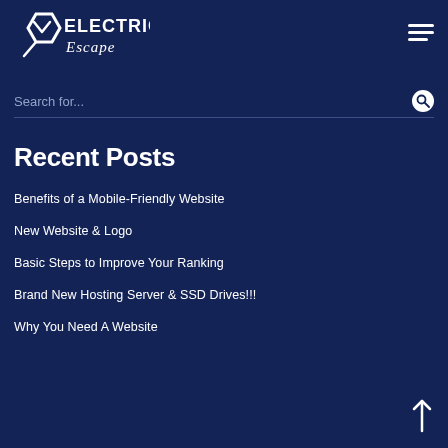[Figure (logo): Electric Escape logo with hexagon icon and script text]
Search for...
Recent Posts
Benefits of a Mobile-Friendly Website
New Website & Logo
Basic Steps to Improve Your Ranking
Brand New Hosting Server & SSD Drives!!!
Why You Need A Website